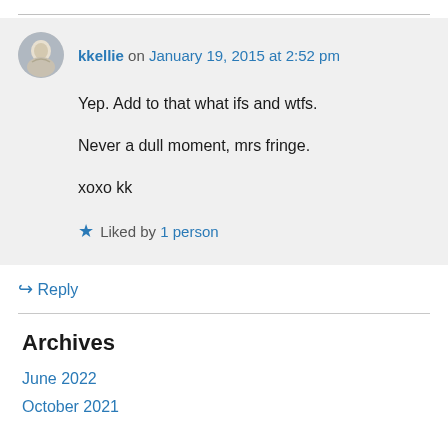kkellie on January 19, 2015 at 2:52 pm
Yep. Add to that what ifs and wtfs.

Never a dull moment, mrs fringe.

xoxo kk
Liked by 1 person
Reply
Archives
June 2022
October 2021